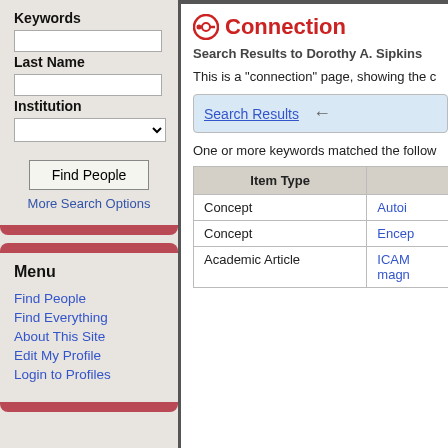Keywords
Last Name
Institution
Find People
More Search Options
Menu
Find People
Find Everything
About This Site
Edit My Profile
Login to Profiles
Connection
Search Results to Dorothy A. Sipkins
This is a "connection" page, showing the c
Search Results
One or more keywords matched the follow
| Item Type |  |
| --- | --- |
| Concept | Autoi |
| Concept | Encep |
| Academic Article | ICAM magn |